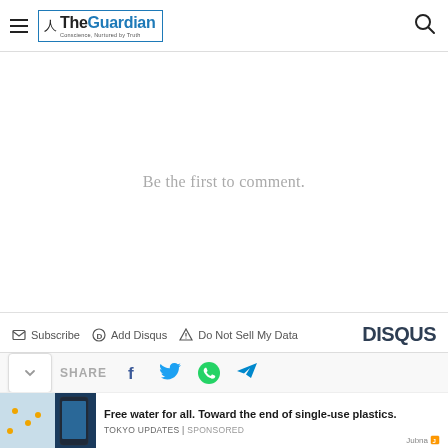The Guardian — Conscience, Nurtured by Truth
Be the first to comment.
Subscribe  Add Disqus  Do Not Sell My Data  DISQUS
SHARE
Free water for all. Toward the end of single-use plastics.
TOKYO UPDATES | Sponsored